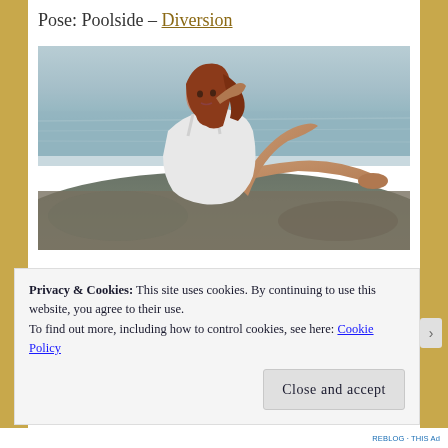Pose: Poolside – Diversion
[Figure (photo): A 3D rendered or illustrated figure of a woman with long auburn hair wearing a white dress, reclining on rocks near water with a coastal background]
Privacy & Cookies: This site uses cookies. By continuing to use this website, you agree to their use.
To find out more, including how to control cookies, see here: Cookie Policy
Close and accept